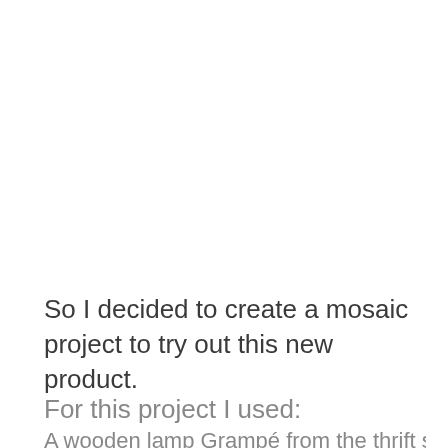So I decided to create a mosaic project to try out this new product.
For this project I used:
A wooden lamp Grampé from the thrift store